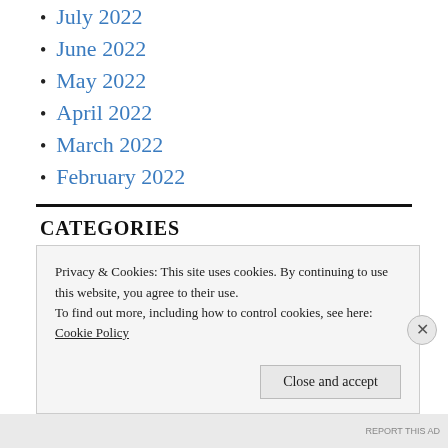July 2022
June 2022
May 2022
April 2022
March 2022
February 2022
CATEGORIES
Privacy & Cookies: This site uses cookies. By continuing to use this website, you agree to their use.
To find out more, including how to control cookies, see here: Cookie Policy
REPORT THIS AD